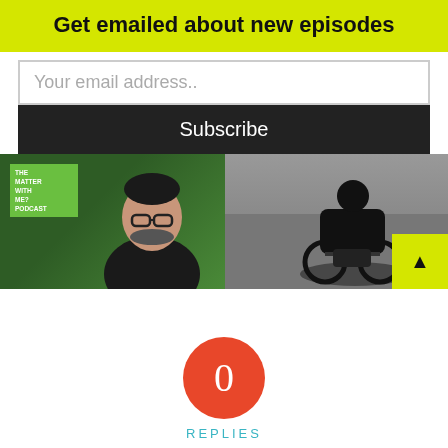Get emailed about new episodes
Your email address..
Subscribe
[Figure (photo): Two side-by-side images: left shows a man with glasses and a green podcast card overlay, right shows a person in a wheelchair from behind on pavement]
[Figure (infographic): Red circle with the number 0 and the word REPLIES below it in teal]
Leave a Reply
Want to join the discussion?
Feel free to contribute!
This site uses cookies. By continuing to browse the site, you are agreeing to our use of cookies.
OK
Name *